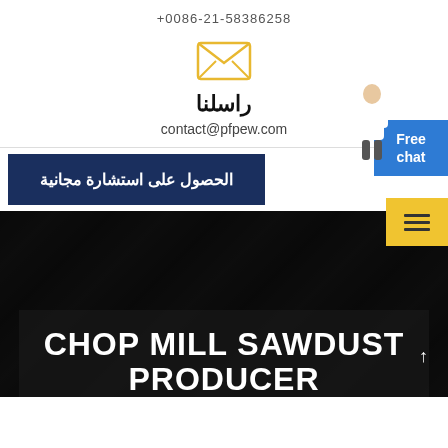+0086-21-58386258
[Figure (illustration): Yellow envelope open icon (email symbol)]
راسلنا
contact@pfpew.com
الحصول على استشارة مجانية
[Figure (illustration): Free chat blue badge and yellow menu icon overlay on right side]
[Figure (photo): Dark background image with machinery, showing text CHOP MILL SAWDUST PRODUCER partially visible]
CHOP MILL SAWDUST
PRODUCER